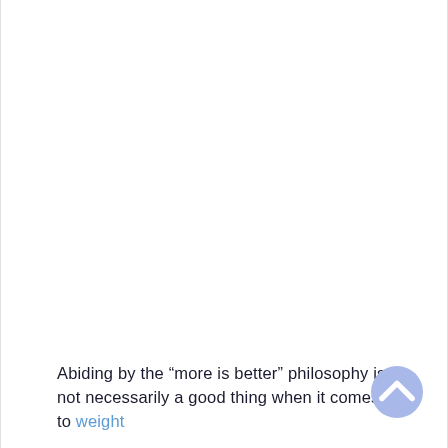Abiding by the “more is better” philosophy is not necessarily a good thing when it comes to weight